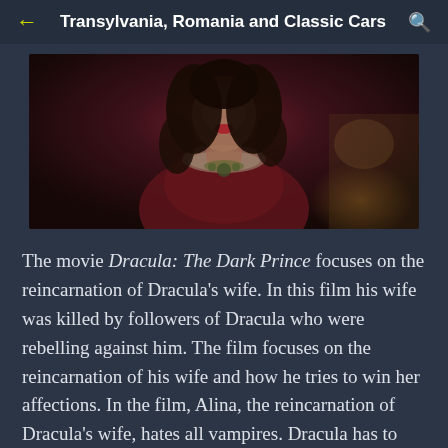Transylvania, Romania and Classic Cars
[Figure (photo): A woman in period costume — dark curly hair, red dress with lace collar, wearing an ornate necklace — photographed in a dark, moody setting.]
The movie Dracula: The Dark Prince focuses on the reincarnation of Dracula's wife. In this film his wife was killed by followers of Dracula who were rebelling against him. The film focuses on the reincarnation of his wife and how he tries to win her affections. In the film, Alina, the reincarnation of Dracula's wife, hates all vampires. Dracula has to show Alina that he is not